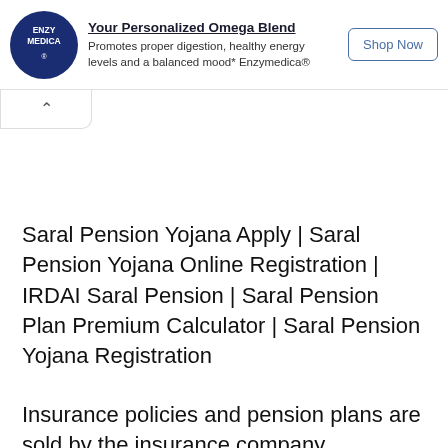[Figure (other): Enzymedica advertisement banner with logo, text about Omega Blend product, and Shop Now button]
Saral Pension Yojana Apply | Saral Pension Yojana Online Registration | IRDAI Saral Pension | Saral Pension Plan Premium Calculator | Saral Pension Yojana Registration
Insurance policies and pension plans are sold by the insurance company